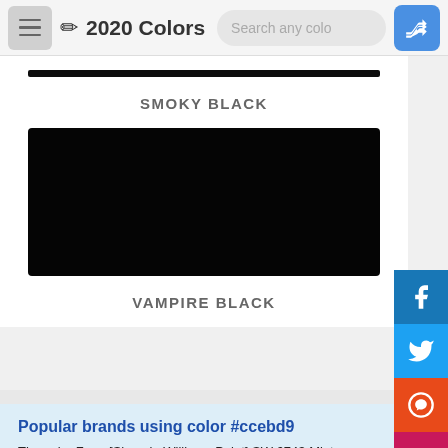2020 Colors
SMOKY BLACK
[Figure (other): Thin black color swatch bar for Smoky Black]
[Figure (other): Large black color swatch rectangle for Vampire Black]
VAMPIRE BLACK
Popular brands using color #ccebd9
The color Faux-[Sherwin Williams Paint] SW 6743 Mint Condition (#ccebd9) is a part of Internet Society's brand recognition.